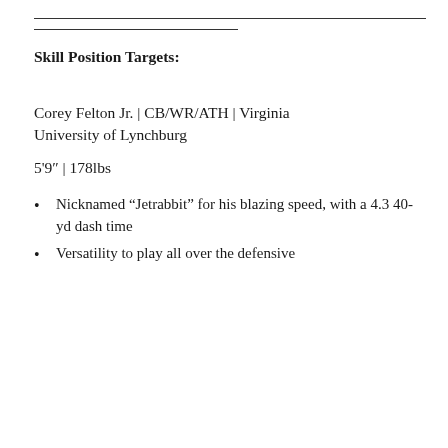Skill Position Targets:
Corey Felton Jr. | CB/WR/ATH | Virginia University of Lynchburg
5‘9” | 178lbs
Nicknamed “Jetrabbit” for his blazing speed, with a 4.3 40-yd dash time
Versatility to play all over the defensive